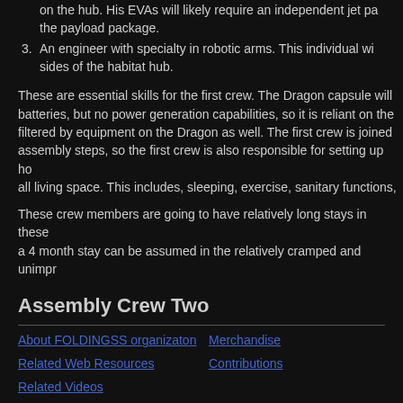on the hub. His EVAs will likely require an independent jet pa the payload package.
3. An engineer with specialty in robotic arms. This individual wi sides of the habitat hub.
These are essential skills for the first crew. The Dragon capsule will batteries, but no power generation capabilities, so it is reliant on the filtered by equipment on the Dragon as well. The first crew is joined assembly steps, so the first crew is also responsible for setting up ho all living space. This includes, sleeping, exercise, sanitary functions,
These crew members are going to have relatively long stays in these a 4 month stay can be assumed in the relatively cramped and unimpr
Assembly Crew Two
About FOLDINGSS organizaton | Merchandise | Related Web Resources | Contributions | Related Videos